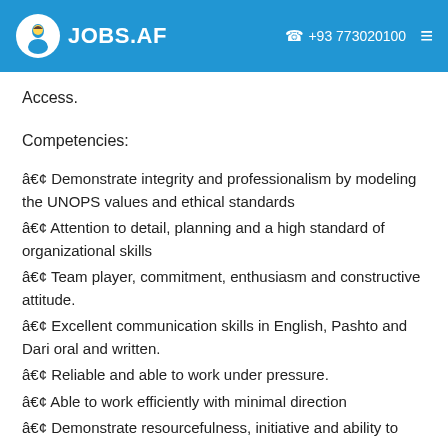JOBS.AF  +93 773020100
Access.
Competencies:
• Demonstrate integrity and professionalism by modeling the UNOPS values and ethical standards
• Attention to detail, planning and a high standard of organizational skills
• Team player, commitment, enthusiasm and constructive attitude.
• Excellent communication skills in English, Pashto and Dari oral and written.
• Reliable and able to work under pressure.
• Able to work efficiently with minimal direction
• Demonstrate resourcefulness, initiative and ability to